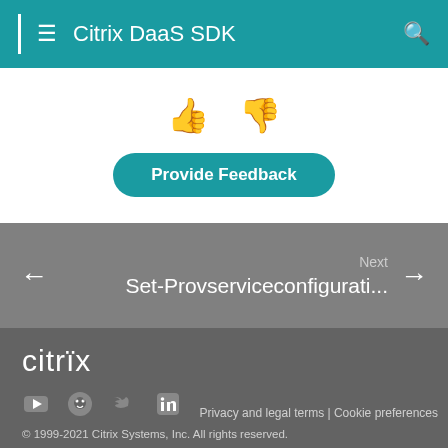Citrix DaaS SDK
[Figure (other): Thumbs up and thumbs down feedback icons]
Provide Feedback
Next
Set-Provserviceconfigurati...
[Figure (logo): Citrix logo in white text]
[Figure (other): Social media icons: YouTube, GitHub, Twitter, LinkedIn]
Privacy and legal terms | Cookie preferences
© 1999-2021 Citrix Systems, Inc. All rights reserved.